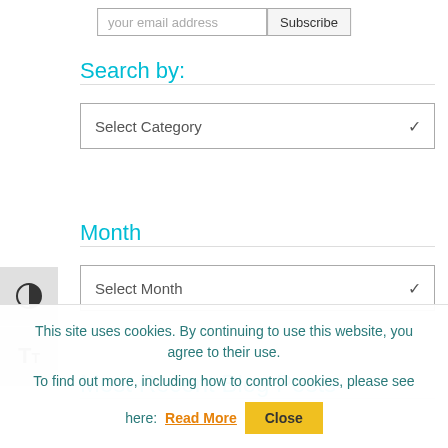your email address
Subscribe
Search by:
Select Category
Month
Select Month
Most Recent Blog Posts
This site uses cookies. By continuing to use this website, you agree to their use.
To find out more, including how to control cookies, please see here:
Read More
Close